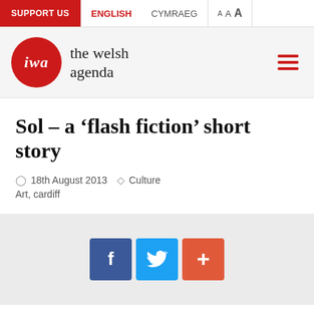SUPPORT US  ENGLISH  CYMRAEG  A A A
[Figure (logo): IWA - the welsh agenda logo: red circle with italic 'iwa' text, beside text 'the welsh agenda']
Sol – a ‘flash fiction’ short story
18th August 2013  Culture
Art, cardiff
[Figure (infographic): Social share buttons: Facebook (blue), Twitter (light blue), Plus/share (orange-red)]